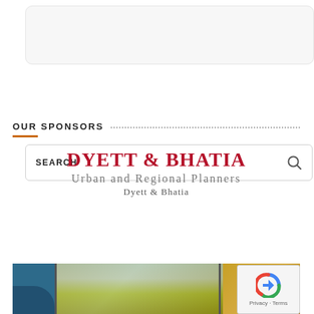[Figure (screenshot): White rounded rectangle box at the top of the page, appears to be a content placeholder]
[Figure (screenshot): Search bar with bold SEARCH label on the left and a magnifying glass icon on the right]
OUR SPONSORS
[Figure (logo): Dyett & Bhatia Urban and Regional Planners logo. Large bold crimson text 'DYETT & BHATIA', subtitle 'Urban and Regional Planners' in grey serif, and 'Dyett & Bhatia' below in smaller grey serif text]
[Figure (photo): Partial bottom strip showing images of people and a building, partially visible at bottom of page with a reCAPTCHA overlay in the bottom right corner]